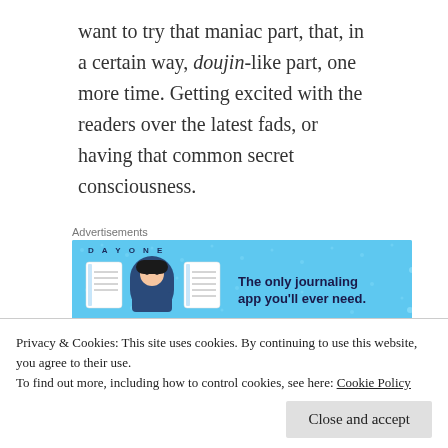want to try that maniac part, that, in a certain way, doujin-like part, one more time. Getting excited with the readers over the latest fads, or having that common secret consciousness.
[Figure (other): Advertisement banner for Day One journaling app with blue background showing app icons and text 'The only journaling app you'll ever need.']
I feel like, what if the readers are pressured the
Privacy & Cookies: This site uses cookies. By continuing to use this website, you agree to their use.
To find out more, including how to control cookies, see here: Cookie Policy